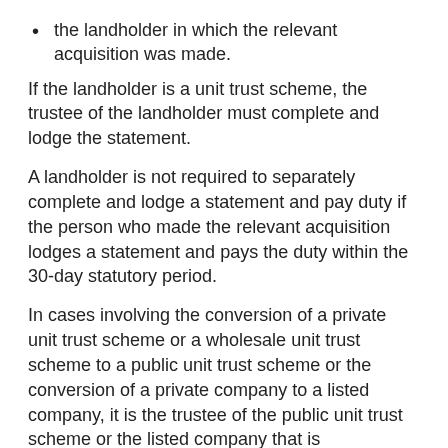the landholder in which the relevant acquisition was made.
If the landholder is a unit trust scheme, the trustee of the landholder must complete and lodge the statement.
A landholder is not required to separately complete and lodge a statement and pay duty if the person who made the relevant acquisition lodges a statement and pays the duty within the 30-day statutory period.
In cases involving the conversion of a private unit trust scheme or a wholesale unit trust scheme to a public unit trust scheme or the conversion of a private company to a listed company, it is the trustee of the public unit trust scheme or the listed company that is required to lodge the acquisition statement.